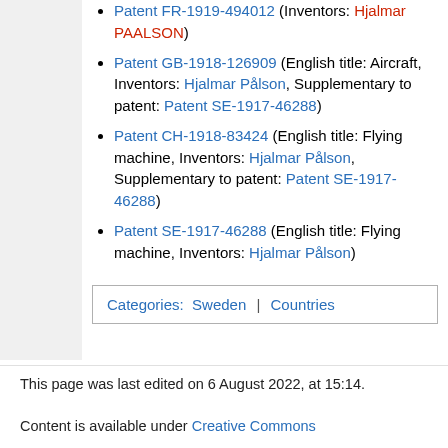Patent FR-1919-494012 (Inventors: Hjalmar PAALSON)
Patent GB-1918-126909 (English title: Aircraft, Inventors: Hjalmar Pålson, Supplementary to patent: Patent SE-1917-46288)
Patent CH-1918-83424 (English title: Flying machine, Inventors: Hjalmar Pålson, Supplementary to patent: Patent SE-1917-46288)
Patent SE-1917-46288 (English title: Flying machine, Inventors: Hjalmar Pålson)
| Categories: Sweden | Countries |
This page was last edited on 6 August 2022, at 15:14.
Content is available under Creative Commons